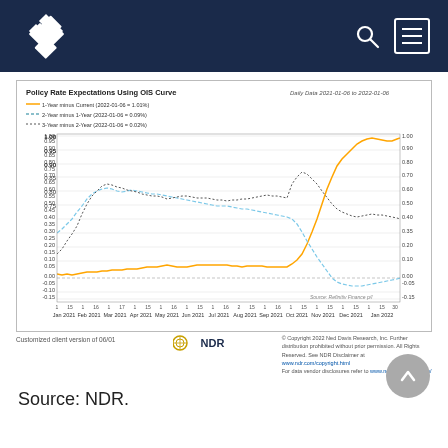NDR navigation bar with logo, search, and menu
[Figure (line-chart): Policy Rate Expectations Using OIS Curve]
Customized client version of 06/01
Source: NDR.